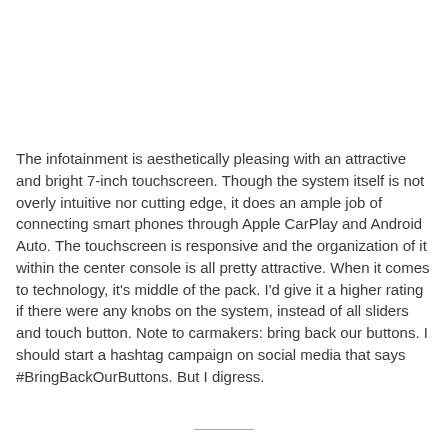The infotainment is aesthetically pleasing with an attractive and bright 7-inch touchscreen. Though the system itself is not overly intuitive nor cutting edge, it does an ample job of connecting smart phones through Apple CarPlay and Android Auto. The touchscreen is responsive and the organization of it within the center console is all pretty attractive. When it comes to technology, it's middle of the pack. I'd give it a higher rating if there were any knobs on the system, instead of all sliders and touch button. Note to carmakers: bring back our buttons. I should start a hashtag campaign on social media that says #BringBackOurButtons. But I digress.